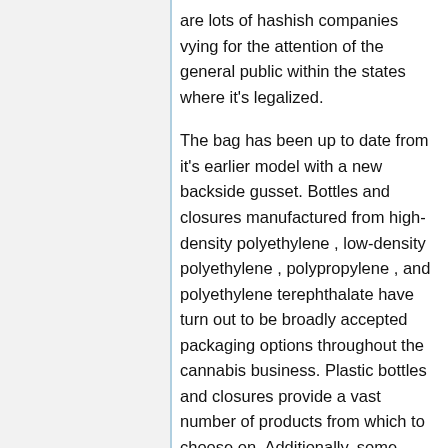are lots of hashish companies vying for the attention of the general public within the states where it's legalized.
The bag has been up to date from it's earlier model with a new backside gusset. Bottles and closures manufactured from high-density polyethylene , low-density polyethylene , polypropylene , and polyethylene terephthalate have turn out to be broadly accepted packaging options throughout the cannabis business. Plastic bottles and closures provide a vast number of products from which to choose on. Additionally, some progressive plastic packaging producers are actively working to supply options to plastics produced from fossil fuels instead of using resins produced from renewable assets like sugarcane.